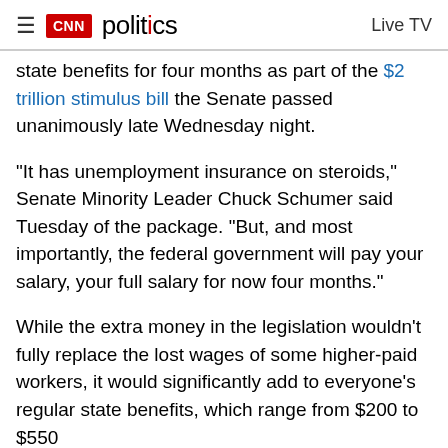CNN politics  Live TV
state benefits for four months as part of the $2 trillion stimulus bill the Senate passed unanimously late Wednesday night.
"It has unemployment insurance on steroids," Senate Minority Leader Chuck Schumer said Tuesday of the package. "But, and most importantly, the federal government will pay your salary, your full salary for now four months."
While the extra money in the legislation wouldn't fully replace the lost wages of some higher-paid workers, it would significantly add to everyone's regular state benefits, which range from $200 to $550...